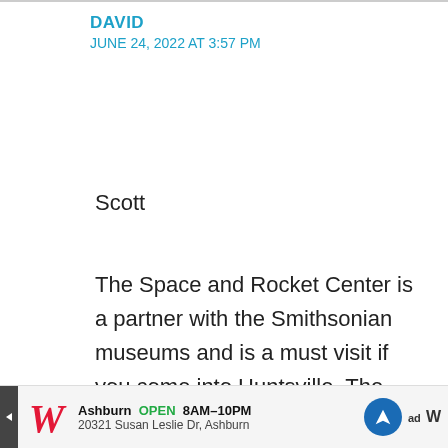DAVID
JUNE 24, 2022 AT 3:57 PM
Scott
The Space and Rocket Center is a partner with the Smithsonian museums and is a must visit if you come into Huntsville. The history of The Rocket City (Huntsville) will be fully explained at the Space and Rocket Center but suffice to say our beautiful city in North Alabama played and still plays a pivotal role
Ashburn OPEN 8AM–10PM 20321 Susan Leslie Dr, Ashburn